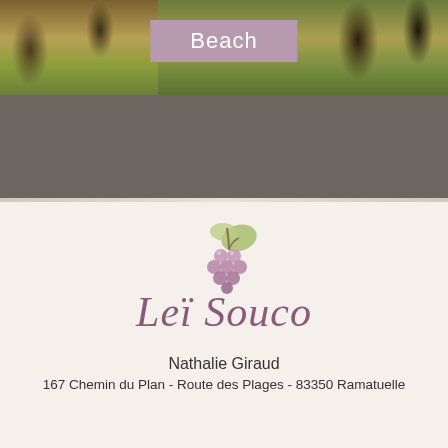[Figure (photo): Outdoor landscape photos showing trees and vegetation in natural setting, with a purple/mauve 'Beach' label overlay in the center top]
Beach
[Figure (logo): Lei Souco winery logo featuring illustrated grape cluster with leaves above decorative cursive text reading 'Leï Souco' in purple]
Nathalie Giraud
167 Chemin du Plan - Route des Plages - 83350 Ramatuelle